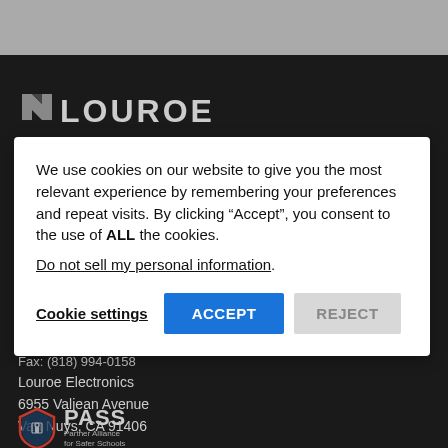[Figure (logo): Louroe Electronics logo — triangular play-button icon followed by 'LOUROE' in large gray bold letters on dark background]
We use cookies on our website to give you the most relevant experience by remembering your preferences and repeat visits. By clicking “Accept”, you consent to the use of ALL the cookies.
Do not sell my personal information.
Cookie settings   ACCEPT   REJECT
Fax: (818) 994-0158
Louroe Electronics
6955 Valjean Avenue
Van Nuys, CA 91406
[Figure (logo): PASS – Partner Alliance for Safer Schools logo with shield icon]